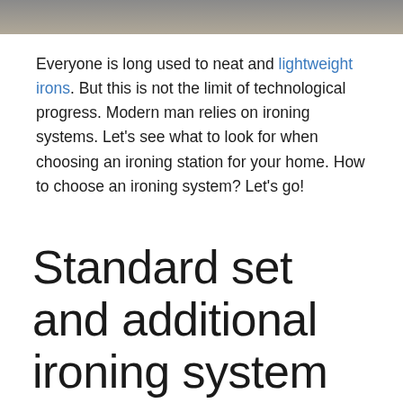[Figure (photo): Partial photo strip at the top of the page showing a blurred/cropped image in grey-brown tones]
Everyone is long used to neat and lightweight irons. But this is not the limit of technological progress. Modern man relies on ironing systems. Let's see what to look for when choosing an ironing station for your home. How to choose an ironing system? Let's go!
Standard set and additional ironing system modes